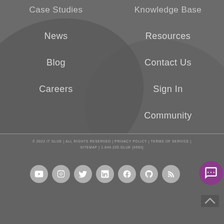Case Studies
Knowledge Base
News
Resources
Blog
Contact Us
Careers
Sign In
Community
© 2022 IT GLUE | ALL RIGHTS RESERVED | PRIVACY POLICY | TERMS OF SERVICE | SITEMAP | 1.844.235.GLUE [4583]
[Figure (infographic): Row of social media icon buttons (YouTube, Instagram, Twitter, LinkedIn, Facebook, GitHub, RSS) as gray circles, plus a purple chat button]